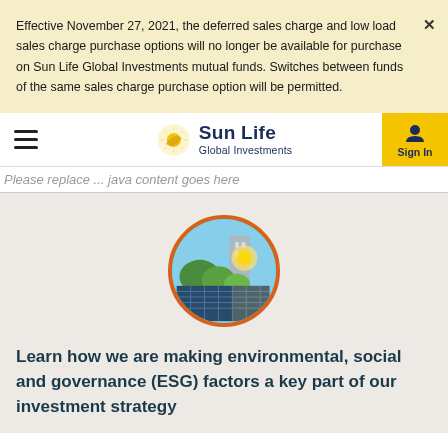Effective November 27, 2021, the deferred sales charge and low load sales charge purchase options will no longer be available for purchase on Sun Life Global Investments mutual funds. Switches between funds of the same sales charge purchase option will be permitted.
Sun Life Global Investments — navigation bar with hamburger menu and Sign In button
Please replace ... java content goes here
[Figure (photo): Circular photo with orange border showing solar panels in front of a city skyline with greenery and sunlight]
Learn how we are making environmental, social and governance (ESG) factors a key part of our investment strategy